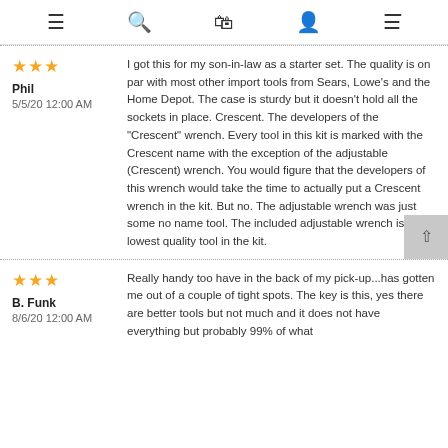☰  🔍  🛍  👤  ⚙
★★★
Phil
5/5/20 12:00 AM
I got this for my son-in-law as a starter set. The quality is on par with most other import tools from Sears, Lowe's and the Home Depot. The case is sturdy but it doesn't hold all the sockets in place. Crescent. The developers of the "Crescent" wrench. Every tool in this kit is marked with the Crescent name with the exception of the adjustable (Crescent) wrench. You would figure that the developers of this wrench would take the time to actually put a Crescent wrench in the kit. But no. The adjustable wrench was just some no name tool. The included adjustable wrench is the lowest quality tool in the kit.
★★★
B. Funk
8/6/20 12:00 AM
Really handy too have in the back of my pick-up...has gotten me out of a couple of tight spots. The key is this, yes there are better tools but not much and it does not have everything but probably 99% of what...